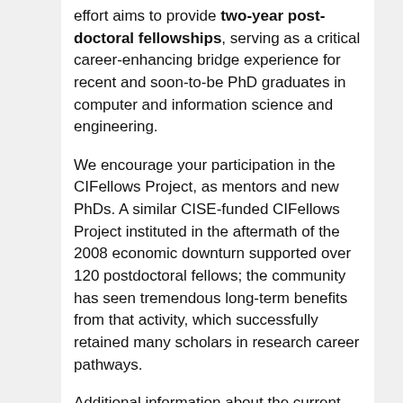effort aims to provide two-year post-doctoral fellowships, serving as a critical career-enhancing bridge experience for recent and soon-to-be PhD graduates in computer and information science and engineering.
We encourage your participation in the CIFellows Project, as mentors and new PhDs. A similar CISE-funded CIFellows Project instituted in the aftermath of the 2008 economic downturn supported over 120 postdoctoral fellows; the community has seen tremendous long-term benefits from that activity, which successfully retained many scholars in research career pathways.
Additional information about the current CIFellows Project is available at the following website, which will be updated as application materials and deadline details are finalized: https://cifellows2020.org
Representatives from CRA and CCC will be hosting an informational webinar about the program on Tuesday, May 26 at 2pm ET. You can register for the program via